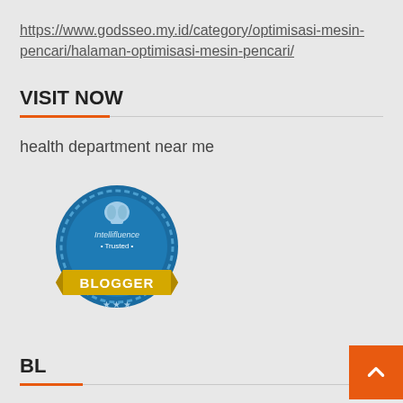https://www.godsseo.my.id/category/optimisasi-mesin-pencari/halaman-optimisasi-mesin-pencari/
VISIT NOW
health department near me
[Figure (logo): Intellifluence Trusted Blogger badge - circular blue badge with yellow ribbon banner showing 'BLOGGER']
BL
TL